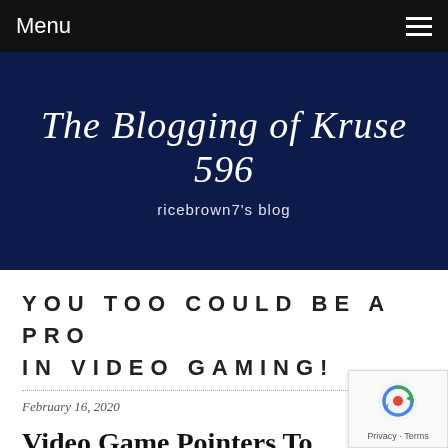Menu
The Blogging of Kruse 596
ricebrown7's blog
YOU TOO COULD BE A PRO IN VIDEO GAMING!
February 16, 2020
Video Game Pointers To Up Your Game